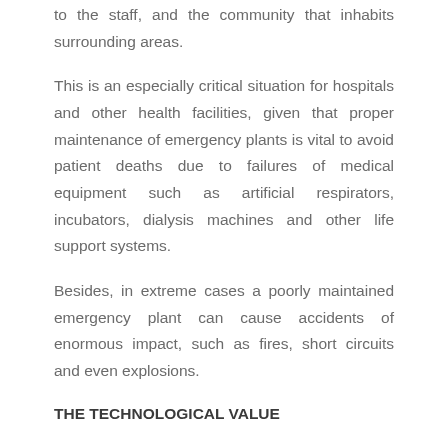to the staff, and the community that inhabits surrounding areas.
This is an especially critical situation for hospitals and other health facilities, given that proper maintenance of emergency plants is vital to avoid patient deaths due to failures of medical equipment such as artificial respirators, incubators, dialysis machines and other life support systems.
Besides, in extreme cases a poorly maintained emergency plant can cause accidents of enormous impact, such as fires, short circuits and even explosions.
THE TECHNOLOGICAL VALUE